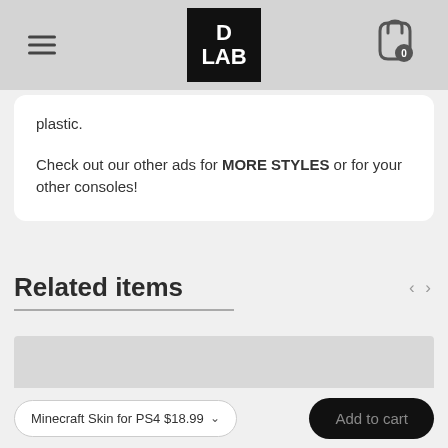[Figure (screenshot): D LAB store header with hamburger menu, D LAB logo in black box, and shopping cart icon with 0 badge]
plastic.
Check out our other ads for MORE STYLES or for your other consoles!
Related items
[Figure (photo): Related item product image placeholder (light gray rectangle)]
Minecraft Skin for PS4 $18.99
Add to cart